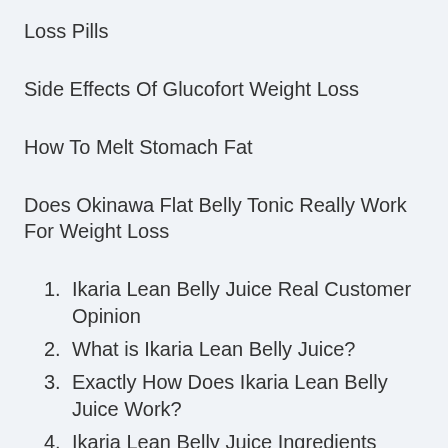Loss Pills
Side Effects Of Glucofort Weight Loss
How To Melt Stomach Fat
Does Okinawa Flat Belly Tonic Really Work For Weight Loss
1. Ikaria Lean Belly Juice Real Customer Opinion
2. What is Ikaria Lean Belly Juice?
3. Exactly How Does Ikaria Lean Belly Juice Work?
4. Ikaria Lean Belly Juice Ingredients
5. Ikaria Lean Belly Juice: Advantages And